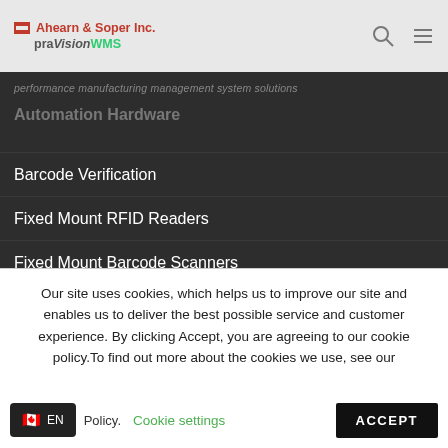Ahearn & Soper Inc. praVisionWMS
performance manufacturing management system solutions
Automation Hardware
Barcode Verification
Fixed Mount RFID Readers
Fixed Mount Barcode Scanners
Label Applicators
Our site uses cookies, which helps us to improve our site and enables us to deliver the best possible service and customer experience. By clicking Accept, you are agreeing to our cookie policy.To find out more about the cookies we use, see our
Policy.  Cookie settings  ACCEPT